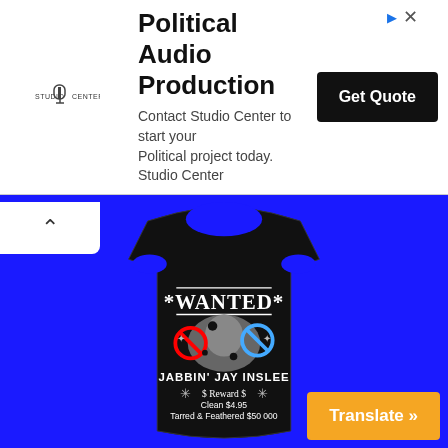[Figure (screenshot): Advertisement banner for Studio Center Political Audio Production with logo, text, and Get Quote button]
[Figure (photo): Black tank top on bright blue background with 'WANTED - JABBIN' JAY INSLEE' graphic design. Shows reward text: '$ Reward $ Clean $4.95 Tarred & Feathered $50,000']
Translate »